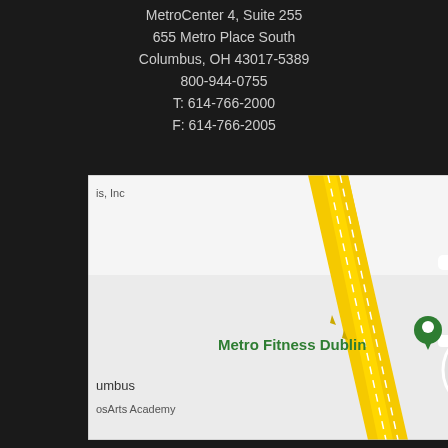MetroCenter 4, Suite 255
655 Metro Place South
Columbus, OH 43017-5389
800-944-0755
T: 614-766-2000
F: 614-766-2005
[Figure (map): Google Maps view showing Metro Fitness Dublin location with green location pin marker, yellow highway roads, and surrounding area labels including Columbus and an Arts Academy]
QUICK LINKS
Home